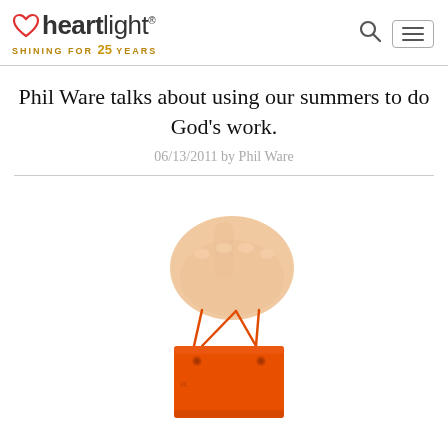heartlight — SHINING FOR 25 YEARS
Phil Ware talks about using our summers to do God's work.
06/13/2011 by Phil Ware
[Figure (photo): A hand holding a tiny orange shopping bag by its handles against a white background.]